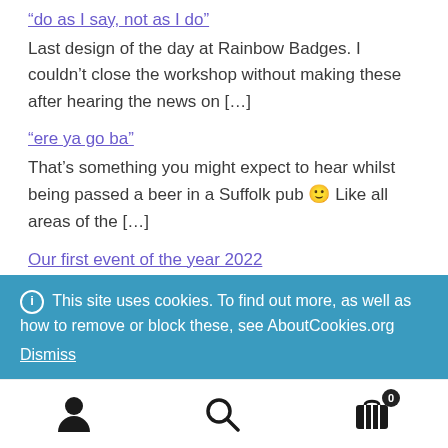“do as I say, not as I do”
Last design of the day at Rainbow Badges. I couldn’t close the workshop without making these after hearing the news on […]
“ere ya go ba”
That’s something you might expect to hear whilst being passed a beer in a Suffolk pub 🙂 Like all areas of the […]
Our first event of the year 2022
If you’re in East Anglia this Saturday 12th of March 2022
This site uses cookies. To find out more, as well as how to remove or block these, see AboutCookies.org
Dismiss